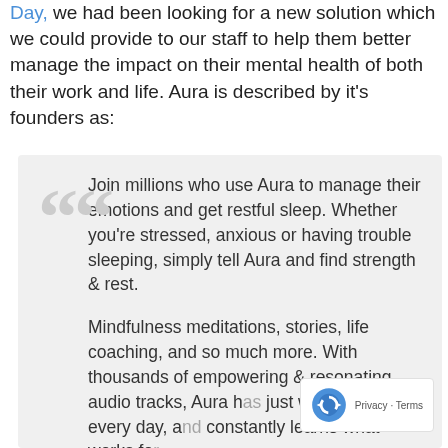Day, we had been looking for a new solution which we could provide to our staff to help them better manage the impact on their mental health of both their work and life. Aura is described by it's founders as:
Join millions who use Aura to manage their emotions and get restful sleep. Whether you're stressed, anxious or having trouble sleeping, simply tell Aura and find strength & rest.

Mindfulness meditations, stories, life coaching, and so much more. With thousands of empowering & resonating audio tracks, Aura has just what you need every day, and constantly learns what works for